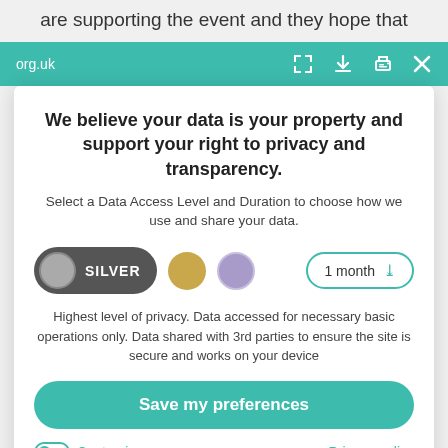are supporting the event and they hope that
org.uk
We believe your data is your property and support your right to privacy and transparency.
Select a Data Access Level and Duration to choose how we use and share your data.
SILVER  [gold dot]  [purple dot]  1 month ∨
Highest level of privacy. Data accessed for necessary basic operations only. Data shared with 3rd parties to ensure the site is secure and works on your device
Save my preferences
Customize    Privacy policy